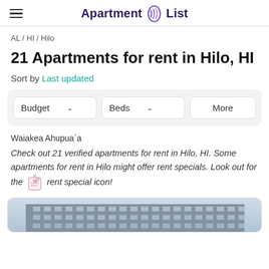Apartment List
AL / HI / Hilo
21 Apartments for rent in Hilo, HI
Sort by Last updated
Budget   Beds   More
Waiakea Ahupua`a
Check out 21 verified apartments for rent in Hilo, HI. Some apartments for rent in Hilo might offer rent specials. Look out for the [icon] rent special icon!
[Figure (photo): Partial view of an apartment building exterior, multi-story with rows of windows, grey/blue sky background]